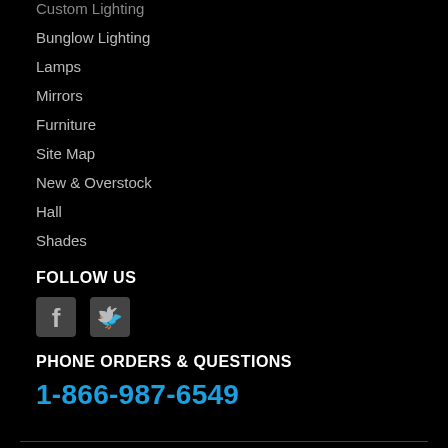Custom Lighting
Bunglow Lighting
Lamps
Mirrors
Furniture
Site Map
New & Overstock
Hall
Shades
FOLLOW US
[Figure (illustration): Facebook and Twitter social media icons]
PHONE ORDERS & QUESTIONS
1-866-987-6549
© 2022, MISSION STUDIO   POWER...   Contact Us